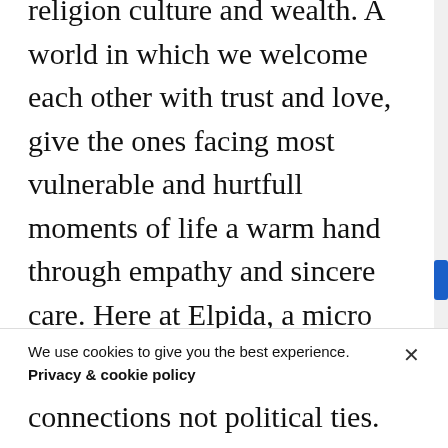religion culture and wealth. A world in which we welcome each other with trust and love, give the ones facing most vulnerable and hurtfull moments of life a warm hand through empathy and sincere care. Here at Elpida, a micro world has been created by people who are here with their hearts, not with their minds: Volunteers are simply here because they want to, and not because of extern motivations like money and power. This
We use cookies to give you the best experience.
Privacy & cookie policy
connections not political ties.